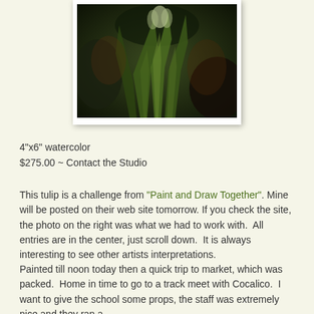[Figure (photo): A dark watercolor painting of a tulip with green leaves against a dark background]
4"x6" watercolor
$275.00 ~ Contact the Studio
This tulip is a challenge from "Paint and Draw Together". Mine will be posted on their web site tomorrow. If you check the site, the photo on the right was what we had to work with.  All entries are in the center, just scroll down.  It is always interesting to see other artists interpretations.
Painted till noon today then a quick trip to market, which was packed.  Home in time to go to a track meet with Cocalico.  I want to give the school some props, the staff was extremely nice and they ran a